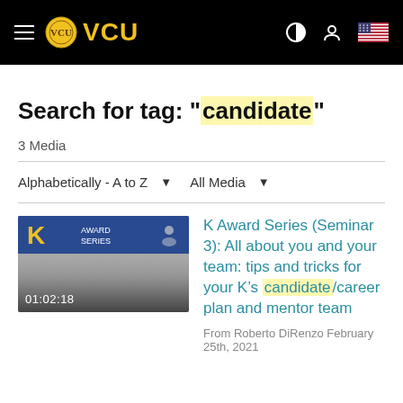VCU navigation bar with hamburger menu, VCU logo, and icons
Search for tag: "candidate"
3 Media
Alphabetically - A to Z   All Media
[Figure (screenshot): Video thumbnail showing K Award Series seminar with blue/gold banner and duration 01:02:18]
K Award Series (Seminar 3): All about you and your team: tips and tricks for your K’s candidate/career plan and mentor team
From Roberto DiRenzo February 25th, 2021